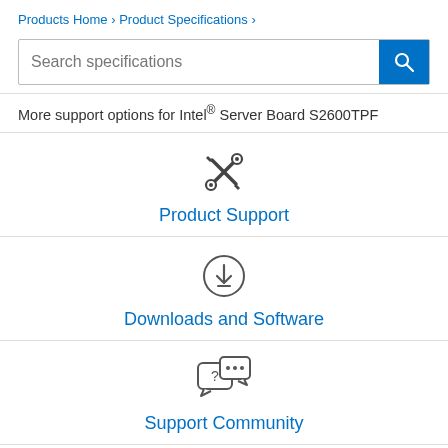Products Home › Product Specifications ›
Search specifications
More support options for Intel® Server Board S2600TPF
[Figure (illustration): Product Support icon: crossed screwdriver and wrench]
Product Support
[Figure (illustration): Downloads and Software icon: circle with down arrow and underline]
Downloads and Software
[Figure (illustration): Support Community icon: two speech bubbles with question mark and ellipsis]
Support Community
[Figure (illustration): Warranty and Replacement icon: certificate/document with seal]
Warranty and Replacement